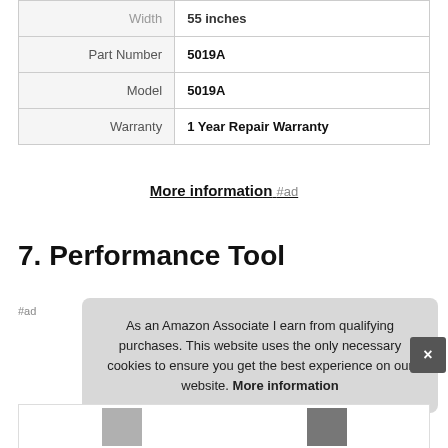| Attribute | Value |
| --- | --- |
| Width | 55 inches |
| Part Number | 5019A |
| Model | 5019A |
| Warranty | 1 Year Repair Warranty |
More information #ad
7. Performance Tool
#ad
As an Amazon Associate I earn from qualifying purchases. This website uses the only necessary cookies to ensure you get the best experience on our website. More information